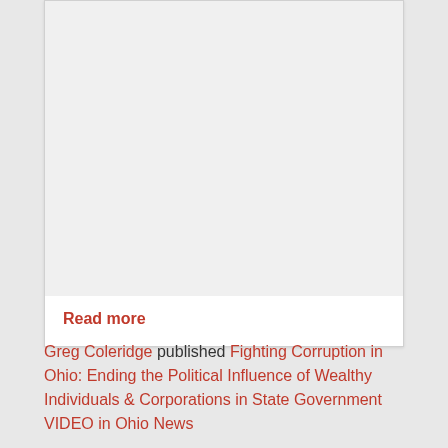[Figure (other): White/light gray card area with empty image placeholder at top]
Read more
Greg Coleridge published Fighting Corruption in Ohio: Ending the Political Influence of Wealthy Individuals & Corporations in State Government VIDEO in Ohio News